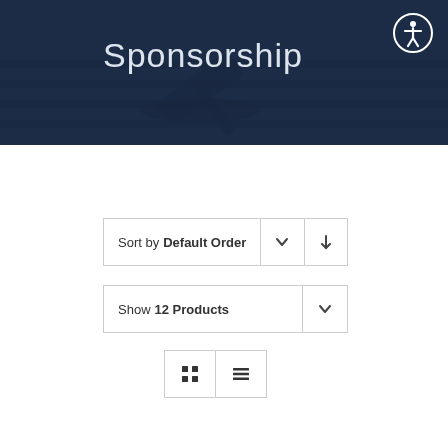[Figure (photo): Dark blue hero banner with gavel/legal background image]
Sponsorship
Sort by Default Order
Show 12 Products